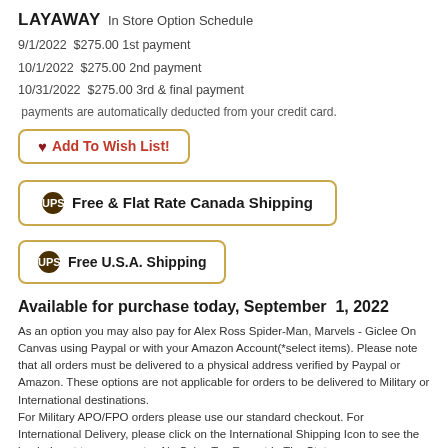LAYAWAY In Store Option Schedule
9/1/2022  $275.00 1st payment
10/1/2022  $275.00 2nd payment
10/31/2022  $275.00 3rd & final payment
payments are automatically deducted from your credit card.
[Figure (other): Add To Wish List! button with heart icon and gold border]
[Figure (other): UPS Free & Flat Rate Canada Shipping button with gold border]
[Figure (other): UPS Free U.S.A. Shipping button with gold border]
Available for purchase today, September 1, 2022
As an option you may also pay for Alex Ross Spider-Man, Marvels - Giclee On Canvas using Paypal or with your Amazon Account(*select items). Please note that all orders must be delivered to a physical address verified by Paypal or Amazon. These options are not applicable for orders to be delivered to Military or International destinations.
For Military APO/FPO orders please use our standard checkout. For International Delivery, please click on the International Shipping Icon to see the landed cost to your country. No Sales Tax Except In The State